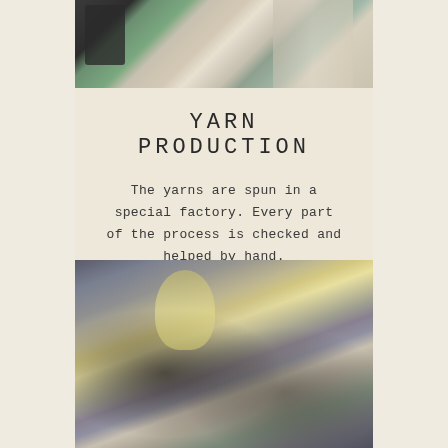[Figure (photo): Top portion of a factory worker handling yarn/fiber with green machinery in the background]
YARN PRODUCTION
The yarns are spun in a special factory. Every part of the process is checked and helped by hand.
[Figure (photo): Factory workers operating industrial sewing/knitting machines with spools of thread visible]